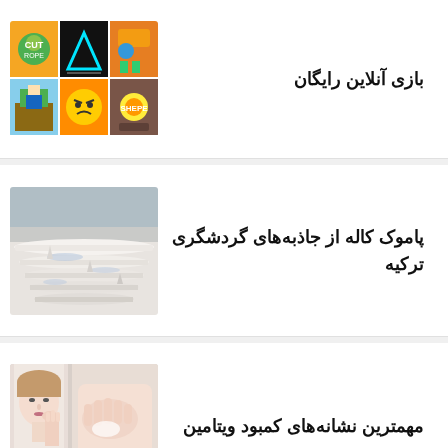بازی آنلاین رایگان
[Figure (photo): Collage of 6 mobile game icons: Cut the Rope, Piano Tiles style, Subway Surfers, Minecraft-style, Clash of Clans, Shape-A-Word]
پاموک کاله از جاذبه‌های گردشگری ترکیه
[Figure (photo): Photo of Pamukkale white travertine terraces in Turkey]
مهمترین نشانه‌های کمبود ویتامین
[Figure (photo): Photo of woman looking in mirror touching face, showing skin check]